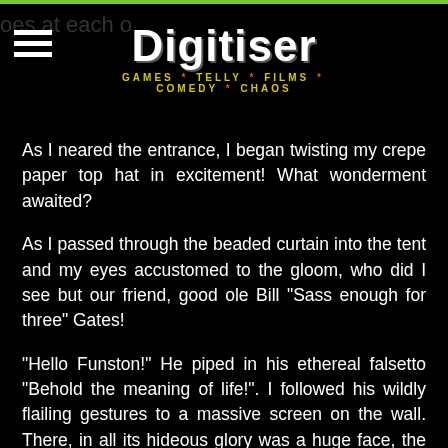Digitiser — GAMES * TELLY * FILMS * COMEDY * CHAOS
As I neared the entrance, I began twisting my crepe paper top hat in excitement! What wonderment awaited?
As I passed through the beaded curtain into the tent and my eyes accustomed to the gloom, who did I see but our friend, good ole Bill "Sass enough for three" Gates!
"Hello Funston!" He piped in his ethereal falsetto "Behold the meaning of life!". I followed his wildly flailing gestures to a massive screen on the wall. There, in all its hideous glory was a huge face, the likes of which I've never seen before and hope never